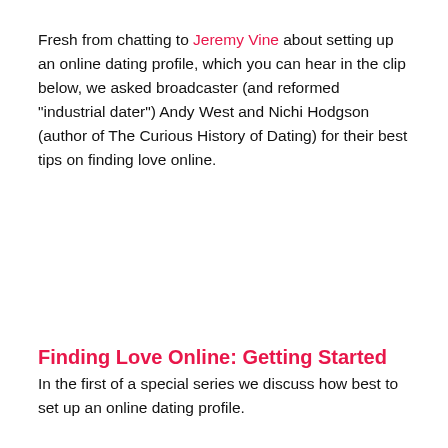Fresh from chatting to Jeremy Vine about setting up an online dating profile, which you can hear in the clip below, we asked broadcaster (and reformed "industrial dater") Andy West and Nichi Hodgson (author of The Curious History of Dating) for their best tips on finding love online.
Finding Love Online: Getting Started
In the first of a special series we discuss how best to set up an online dating profile.